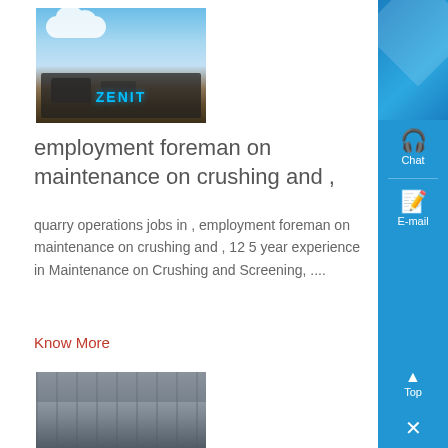[Figure (photo): Outdoor quarry/crushing plant with machinery and equipment under a partly cloudy sky, with ZENIT branding]
employment foreman on maintenance on crushing and ,
quarry operations jobs in , employment foreman on maintenance on crushing and , 12 5 year experience in Maintenance on Crushing and Screening, ....
Know More
[Figure (photo): Industrial indoor facility with machinery and equipment, with ZENIT branding]